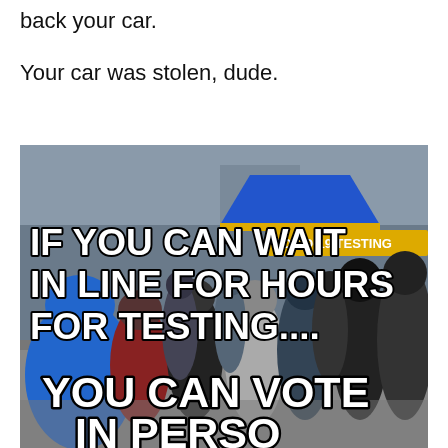back your car.
Your car was stolen, dude.
[Figure (photo): A photo of people waiting in a long line outdoors in winter clothing, with a blue tent marked 'COVID-19 TESTING' visible. Overlaid bold white text reads: 'IF YOU CAN WAIT IN LINE FOR HOURS FOR TESTING.... YOU CAN VOTE IN PERSON']